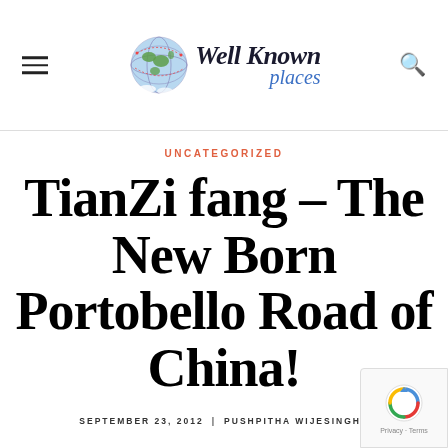Well Known places — site header with logo and navigation
UNCATEGORIZED
TianZi fang – The New Born Portobello Road of China!
SEPTEMBER 23, 2012 | PUSHPITHA WIJESINGHE